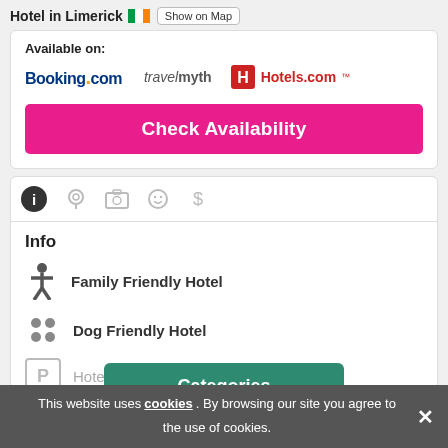Hotel in Limerick 🇮🇪 Show on Map
Available on: Booking.com  travelmyth  Hotels.com
Check Availability
Info
Family Friendly Hotel
Dog Friendly Hotel
Hotel with Parking
Show more ▾
Categories
This website uses cookies. By browsing our site you agree to the use of cookies.